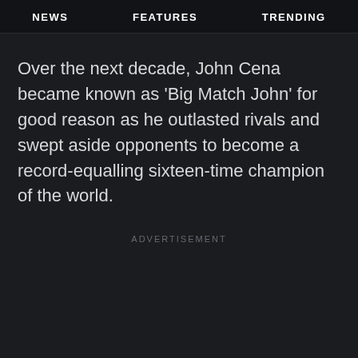NEWS   FEATURES   TRENDING
Over the next decade, John Cena became known as ‘Big Match John’ for good reason as he outlasted rivals and swept aside opponents to become a record-equalling sixteen-time champion of the world.
ADVERTISEMENT